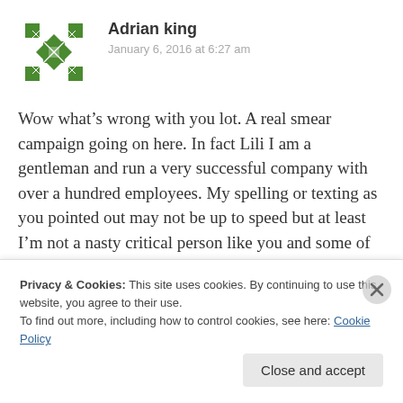[Figure (illustration): Green geometric snowflake/quilt pattern avatar icon for user Adrian king]
Adrian king
January 6, 2016 at 6:27 am
Wow what’s wrong with you lot. A real smear campaign going on here. In fact Lili I am a gentleman and run a very successful company with over a hundred employees. My spelling or texting as you pointed out may not be up to speed but at least I’m not a nasty critical person like you and some of your followers. Get lives weirdos
Privacy & Cookies: This site uses cookies. By continuing to use this website, you agree to their use.
To find out more, including how to control cookies, see here: Cookie Policy
Close and accept